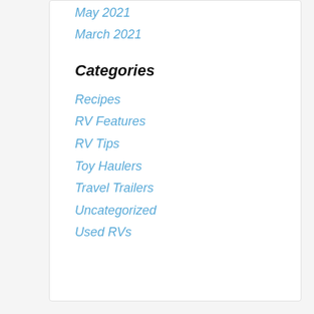May 2021
March 2021
Categories
Recipes
RV Features
RV Tips
Toy Haulers
Travel Trailers
Uncategorized
Used RVs